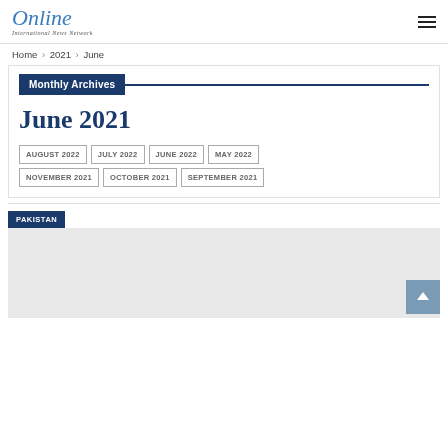Online International News Network
Home > 2021 > June
Monthly Archives
June 2021
AUGUST 2022
JULY 2022
JUNE 2022
MAY 2022
NOVEMBER 2021
OCTOBER 2021
SEPTEMBER 2021
PAKISTAN
[Figure (photo): Pakistan news article image placeholder (light grey)]